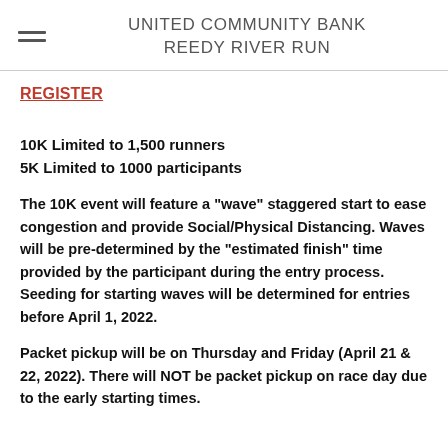UNITED COMMUNITY BANK REEDY RIVER RUN
REGISTER
10K Limited to 1,500 runners
5K Limited to 1000 participants
The 10K event will feature a "wave" staggered start to ease congestion and provide Social/Physical Distancing. Waves will be pre-determined by the "estimated finish" time provided by the participant during the entry process. Seeding for starting waves will be determined for entries before April 1, 2022.
Packet pickup will be on Thursday and Friday (April 21 & 22, 2022). There will NOT be packet pickup on race day due to the early starting times.